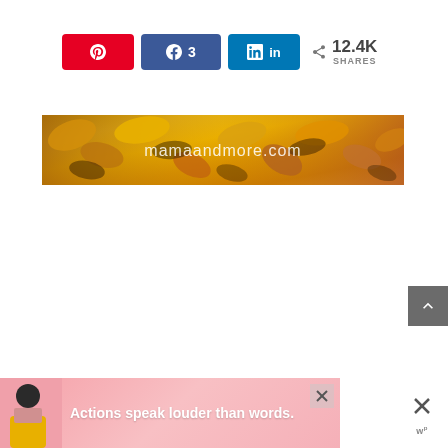[Figure (infographic): Social share buttons row: Pinterest (red), Facebook (blue, count: 3), LinkedIn (blue), and share count showing 12.4K SHARES]
[Figure (photo): Autumn leaves photo banner with text 'mamaandmore.com' centered in white]
[Figure (infographic): Gray scroll-to-top button with upward chevron arrow on right edge]
[Figure (infographic): Advertisement banner at bottom: pink/coral background with person photo, text 'Actions speak louder than words.' with close X button]